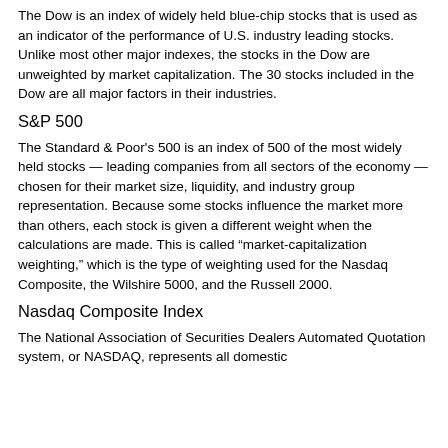The Dow is an index of widely held blue-chip stocks that is used as an indicator of the performance of U.S. industry leading stocks. Unlike most other major indexes, the stocks in the Dow are unweighted by market capitalization. The 30 stocks included in the Dow are all major factors in their industries.
S&P 500
The Standard & Poor's 500 is an index of 500 of the most widely held stocks — leading companies from all sectors of the economy — chosen for their market size, liquidity, and industry group representation. Because some stocks influence the market more than others, each stock is given a different weight when the calculations are made. This is called “market-capitalization weighting,” which is the type of weighting used for the Nasdaq Composite, the Wilshire 5000, and the Russell 2000.
Nasdaq Composite Index
The National Association of Securities Dealers Automated Quotation system, or NASDAQ, represents all domestic